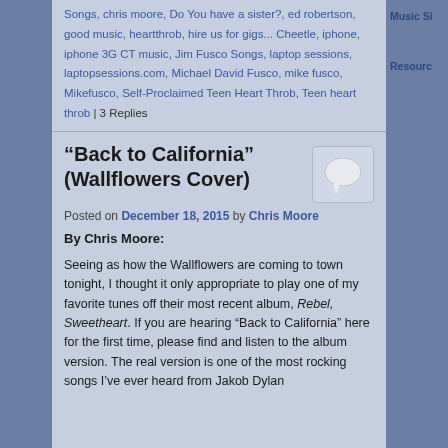Songs, chris moore, Do You have a sister?, ed robertson, good music, heartthrob, hire us for gigs... Cheetle, iphone, iphone 3G CT music, Jim Fusco Songs, laptop sessions, laptopsessions.com, Michael David Fusco, mike fusco, Mikefusco, Self-Proclaimed Teen Heart Throb, Teen heart throb | 3 Replies
Music Si
Resourc
“Back to California” (Wallflowers Cover)
Posted on December 18, 2015 by Chris Moore
By Chris Moore:
Seeing as how the Wallflowers are coming to town tonight, I thought it only appropriate to play one of my favorite tunes off their most recent album, Rebel, Sweetheart. If you are hearing “Back to California” here for the first time, please find and listen to the album version. The real version is one of the most rocking songs I’ve ever heard from Jakob Dylan